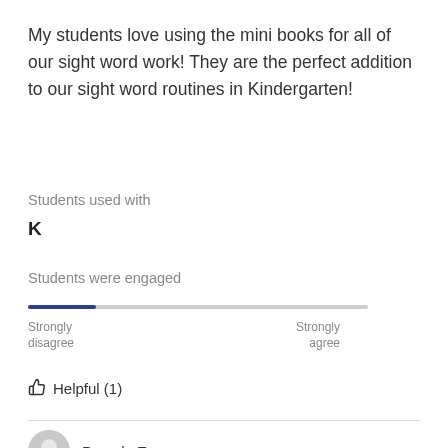My students love using the mini books for all of our sight word work!  They are the perfect addition to our sight word routines in Kindergarten!
Students used with
K
Students were engaged
[Figure (other): A horizontal slider/scale from Strongly disagree to Strongly agree, with the indicator near the left (Strongly disagree) end, shown as a dark blue filled segment on a gray track.]
Helpful (1)
Pamela E.